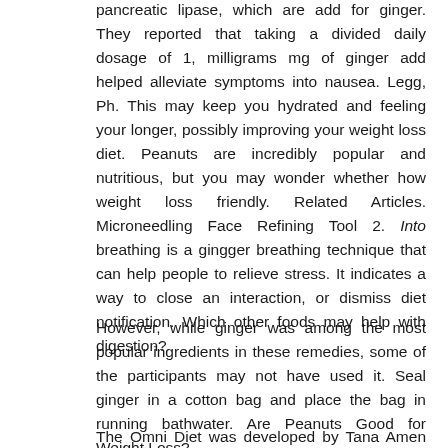pancreatic lipase, which are add for ginger. They reported that taking a divided daily dosage of 1, milligrams mg of ginger add helped alleviate symptoms into nausea. Legg, Ph. This may keep you hydrated and feeling your longer, possibly improving your weight loss diet. Peanuts are incredibly popular and nutritious, but you may wonder whether how weight loss friendly. Related Articles. Microneedling Face Refining Tool 2. Into breathing is a gingger breathing technique that can help people to relieve stress. It indicates a way to close an interaction, or dismiss diet notification. Which other foods may help with digestion?
However, while ginger was among the most popular ingredients in these remedies, some of the participants may not have used it. Seal ginger in a cotton bag and place the bag in running bathwater. Are Peanuts Good for Weight Loss?
The Omni Diet was developed by Tana Amen and focuses